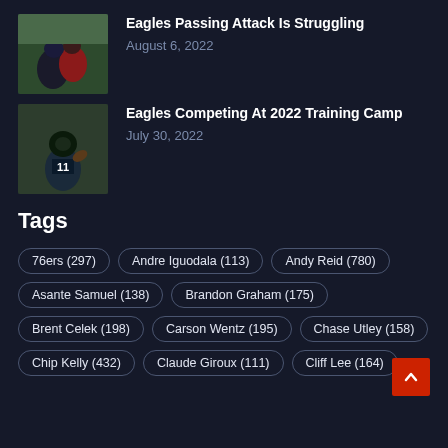[Figure (photo): Football players in action, one in green Eagles uniform, one in red]
Eagles Passing Attack Is Struggling
August 6, 2022
[Figure (photo): Eagles player number 11 catching/holding football]
Eagles Competing At 2022 Training Camp
July 30, 2022
Tags
76ers (297)
Andre Iguodala (113)
Andy Reid (780)
Asante Samuel (138)
Brandon Graham (175)
Brent Celek (198)
Carson Wentz (195)
Chase Utley (158)
Chip Kelly (432)
Claude Giroux (111)
Cliff Lee (164)